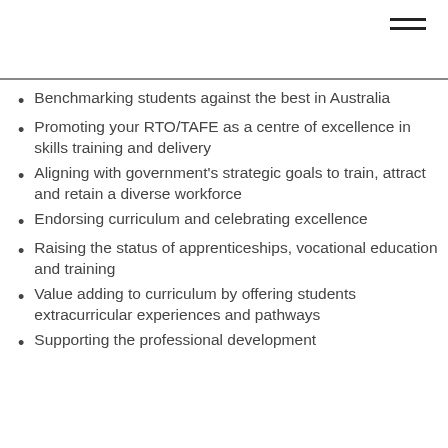Benchmarking students against the best in Australia
Promoting your RTO/TAFE as a centre of excellence in skills training and delivery
Aligning with government's strategic goals to train, attract and retain a diverse workforce
Endorsing curriculum and celebrating excellence
Raising the status of apprenticeships, vocational education and training
Value adding to curriculum by offering students extracurricular experiences and pathways
Supporting the professional development